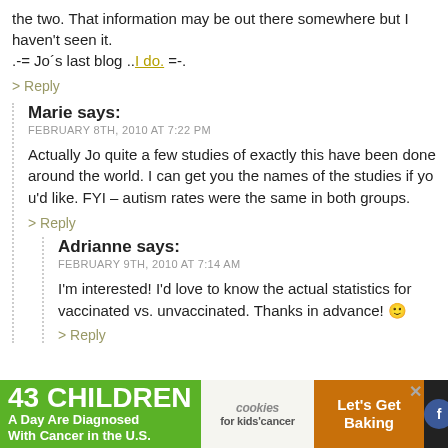the two. That information may be out there somewhere but I haven't seen it.
.-= Jo´s last blog ..I do. =-.
> Reply
Marie says: FEBRUARY 8TH, 2010 AT 7:22 PM
Actually Jo quite a few studies of exactly this have been done around the world. I can get you the names of the studies if you'd like. FYI – autism rates were the same in both groups.
> Reply
Adrianne says: FEBRUARY 9TH, 2010 AT 7:14 AM
I'm interested! I'd love to know the actual statistics for vaccinated vs. unvaccinated. Thanks in advance! 🙂
> Reply
[Figure (infographic): Advertisement banner: '43 CHILDREN A Day Are Diagnosed With Cancer in the U.S.' with cookies for kids' cancer logo and 'Let's Get Baking' text on orange background]